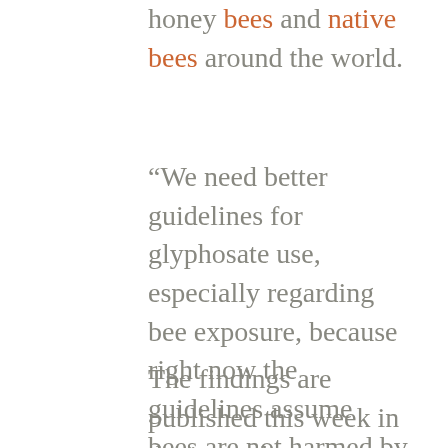honey bees and native bees around the world.
“We need better guidelines for glyphosate use, especially regarding bee exposure, because right now the guidelines assume bees are not harmed by the herbicide,” said Erick Motta, the graduate student who led the research, along with professor Nancy Moran. “Our study shows that’s not true.”
The findings are published this week in the journal Proceedings of the National Academy of Sciences.